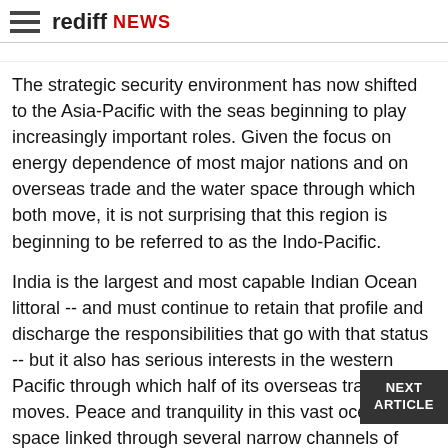rediff NEWS
The strategic security environment has now shifted to the Asia-Pacific with the seas beginning to play increasingly important roles. Given the focus on energy dependence of most major nations and on overseas trade and the water space through which both move, it is not surprising that this region is beginning to be referred to as the Indo-Pacific.
India is the largest and most capable Indian Ocean littoral -- and must continue to retain that profile and discharge the responsibilities that go with that status -- but it also has serious interests in the western Pacific through which half of its overseas trade moves. Peace and tranquility in this vast oceanic space linked through several narrow channels of south-east Asia is an essential prerequisite to its own growth.
All of this necessitates having capabilities at sea that will cope with concerns both proximate and strategic. While a